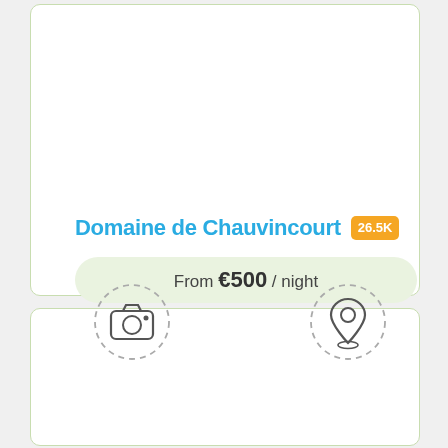Domaine de Chauvincourt 26.5K
From €500 / night
Book Now
[Figure (screenshot): Bottom card with camera icon (dashed circle) on the left and a map/location pin icon (dashed circle) on the right]